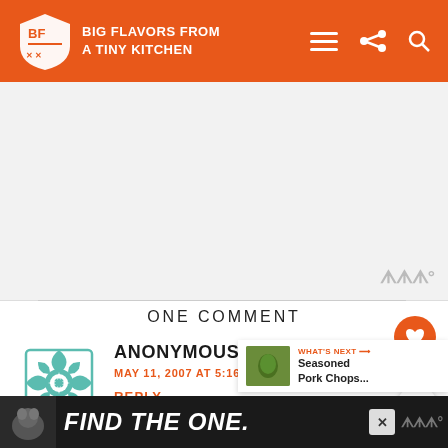BIG FLAVORS FROM A TINY KITCHEN
[Figure (other): Advertisement placeholder area]
ONE COMMENT
ANONYMOUS
MAY 11, 2007 AT 5:16 AM
REPLY
That sounds like a fun alternative to egg
[Figure (other): Bottom advertisement banner: FIND THE ONE with a dog image]
[Figure (other): What's Next: Seasoned Pork Chops...]